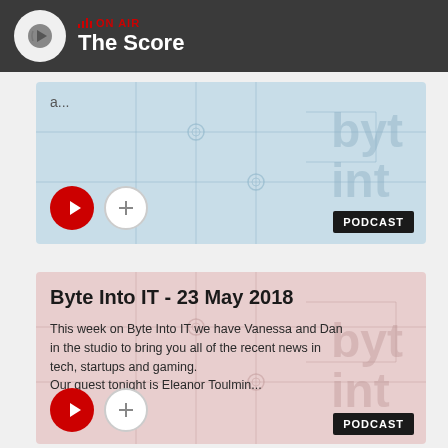ON AIR — The Score
[Figure (screenshot): Podcast card with blue circuit board background showing truncated text 'a...' with play button, plus button, and PODCAST badge]
Byte Into IT - 23 May 2018
This week on Byte Into IT we have Vanessa and Dan in the studio to bring you all of the recent news in tech, startups and gaming.
Our guest tonight is Eleanor Toulmin...
[Figure (screenshot): Podcast card with pink/red circuit board background, play button, plus button, and PODCAST badge]